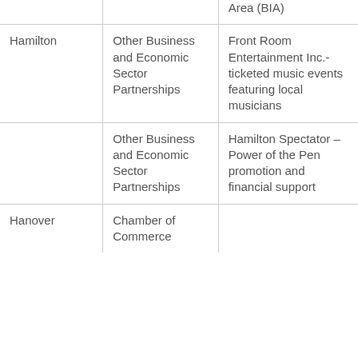| City | Sector | Organization/Description |
| --- | --- | --- |
|  |  | Area (BIA) |
| Hamilton | Other Business and Economic Sector Partnerships | Front Room Entertainment Inc.- ticketed music events featuring local musicians |
|  | Other Business and Economic Sector Partnerships | Hamilton Spectator – Power of the Pen promotion and financial support |
| Hanover | Chamber of Commerce |  |